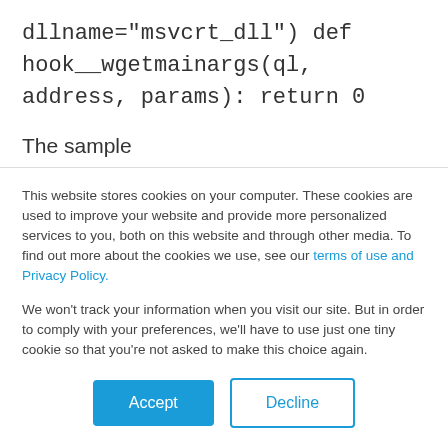dllname="msvcrt_dll") def hook__wgetmainargs(ql, address, params): return 0
The sample 74c5ae5e64d0a850eb0ebe3cbca4c6b92918a8365f2f78306643be9cffc32def also makes use of some API calls that need to
This website stores cookies on your computer. These cookies are used to improve your website and provide more personalized services to you, both on this website and through other media. To find out more about the cookies we use, see our terms of use and Privacy Policy.
We won't track your information when you visit our site. But in order to comply with your preferences, we'll have to use just one tiny cookie so that you're not asked to make this choice again.